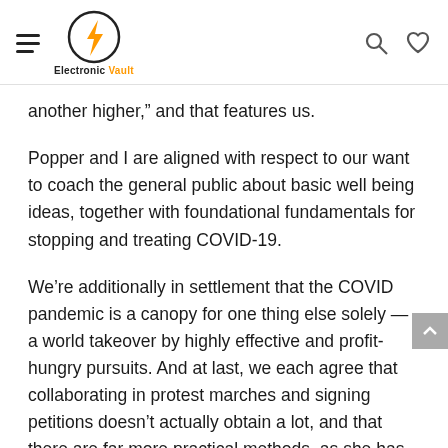Electronic Vault
another higher,” and that features us.
Popper and I are aligned with respect to our want to coach the general public about basic well being ideas, together with foundational fundamentals for stopping and treating COVID-19.
We’re additionally in settlement that the COVID pandemic is a canopy for one thing else solely — a world takeover by highly effective and profit-hungry pursuits. And at last, we each agree that collaborating in protest marches and signing petitions doesn’t actually obtain a lot, and that there are far more practical methods, as she has